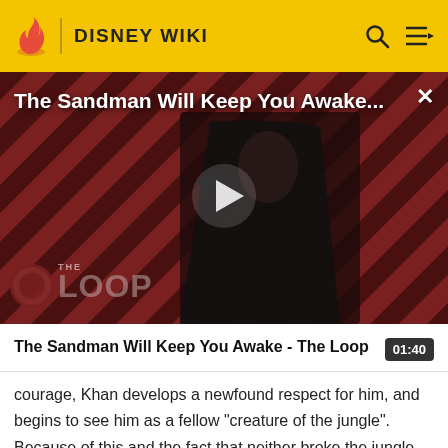DISNEY WIKI
[Figure (screenshot): Video thumbnail showing a dark figure in a black cape against a red and black diagonal striped background, with 'The Loop' watermark. A white play button triangle is centered. Title overlay reads 'The Sandman Will Keep You Awake...' with an X close button.]
The Sandman Will Keep You Awake - The Loop  01:40
courage, Khan develops a newfound respect for him, and begins to see him as a fellow "creature of the jungle". Because of this and the fact that neither broke the jungle